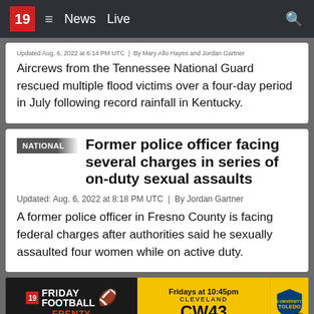19 News Live
Aircrews from the Tennessee National Guard rescued multiple flood victims over a four-day period in July following record rainfall in Kentucky.
NATIONAL
Former police officer facing several charges in series of on-duty sexual assaults
Updated: Aug. 6, 2022 at 8:18 PM UTC  |  By Jordan Gartner
A former police officer in Fresno County is facing federal charges after authorities said he sexually assaulted four women while on active duty.
[Figure (other): Advertisement banner for 19 Friday Football Frenzy on CW43 Cleveland, Fridays at 10:45pm, with University of Toledo logo]